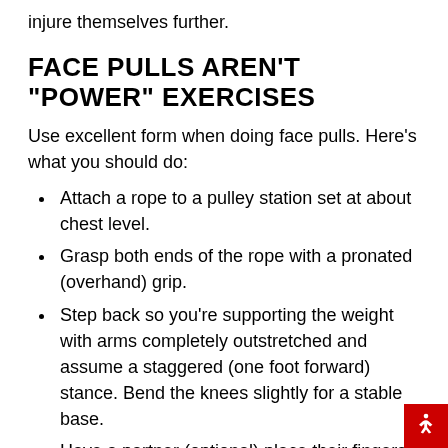injure themselves further.
FACE PULLS AREN'T "POWER" EXERCISES
Use excellent form when doing face pulls. Here's what you should do:
Attach a rope to a pulley station set at about chest level.
Grasp both ends of the rope with a pronated (overhand) grip.
Step back so you're supporting the weight with arms completely outstretched and assume a staggered (one foot forward) stance. Bend the knees slightly for a stable base.
Have a partner (optional) place their fingers along your spine at about the mid-back height. This helps remind you not to use the low back to move the